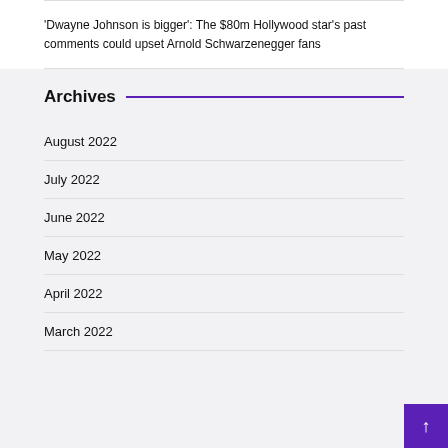'Dwayne Johnson is bigger': The $80m Hollywood star's past comments could upset Arnold Schwarzenegger fans
Archives
August 2022
July 2022
June 2022
May 2022
April 2022
March 2022